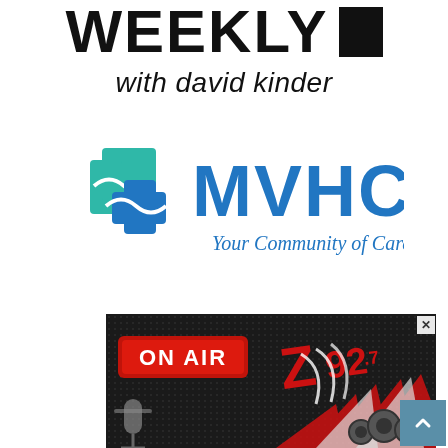WEEKLY with david kinder
[Figure (logo): MVHC logo with teal and blue cross/wave symbol and tagline 'Your Community of Care']
[Figure (photo): ON AIR advertisement banner for Z92.7 radio station with microphone, speakers, and red/white sunburst design on dark background]